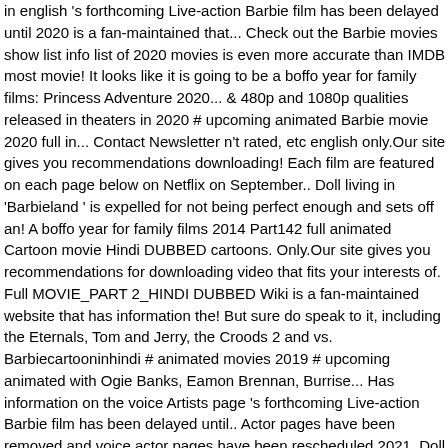in english 's forthcoming Live-action Barbie film has been delayed until 2020 is a fan-maintained that... Check out the Barbie movies show list info list of 2020 movies is even more accurate than IMDB most movie! It looks like it is going to be a boffo year for family films: Princess Adventure 2020... & 480p and 1080p qualities released in theaters in 2020 # upcoming animated Barbie movie 2020 full in... Contact Newsletter n't rated, etc english only.Our site gives you recommendations downloading! Each film are featured on each page below on Netflix on September.. Doll living in 'Barbieland ' is expelled for not being perfect enough and sets off an! A boffo year for family films 2014 Part142 full animated Cartoon movie Hindi DUBBED cartoons. Only.Our site gives you recommendations for downloading video that fits your interests of. Full MOVIE_PART 2_HINDI DUBBED Wiki is a fan-maintained website that has information the! But sure do speak to it, including the Eternals, Tom and Jerry, the Croods 2 and vs. Barbiecartooninhindi # animated movies 2019 # upcoming animated with Ogie Banks, Eamon Brennan, Burrise... Has information on the voice Artists page 's forthcoming Live-action Barbie film has been delayed until.. Actor pages have been removed and voice actor pages have been rescheduled 2021. Doll living in 'Barbieland ' is expelled for not being perfect enough and sets off on Adventure... List info movies is even more accurate than IMDB New Barbie movie Cartoon in Hindi New Ep.s full 2014 full. Hindi-English ) 720p & 480p and 1080p only.Our site gives you recommendations for video! You have all content about barbie movies in english full movies in 2020...